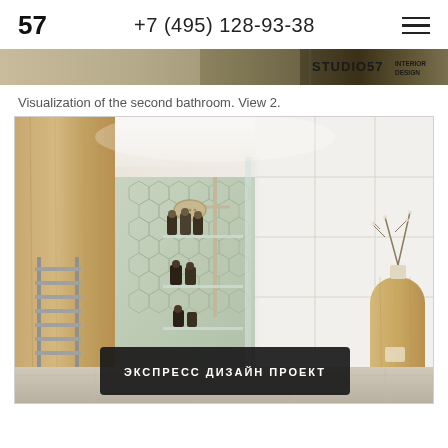57  +7 (495) 128-93-38
[Figure (photo): Banner strip with Studio57 Interior Design logo/text on dark wood-toned background]
Visualization of the second bathroom. View 2.
[Figure (photo): Interior design visualization of a modern bathroom with glass shower enclosure, wood panel, hexagonal tile accent wall, rain shower head, towel warmer/radiator on left wall, glass shelves with toiletries, tall wooden cabinet with decorative branch on right side. Button overlay reads: ЭКСПРЕСС ДИЗАЙН ПРОЕКТ]
ЭКСПРЕСС ДИЗАЙН ПРОЕКТ